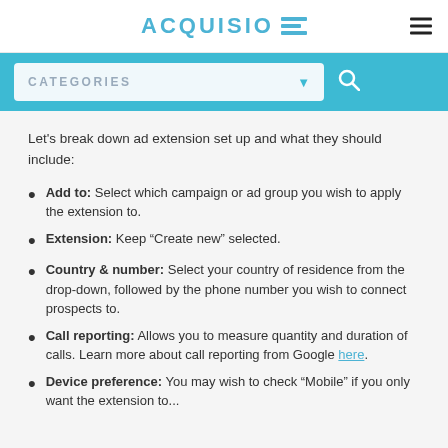ACQUISIO
Let's break down ad extension set up and what they should include:
Add to: Select which campaign or ad group you wish to apply the extension to.
Extension: Keep “Create new” selected.
Country & number: Select your country of residence from the drop-down, followed by the phone number you wish to connect prospects to.
Call reporting: Allows you to measure quantity and duration of calls. Learn more about call reporting from Google here.
Device preference: You may wish to check “Mobile” if you only want the extension to...